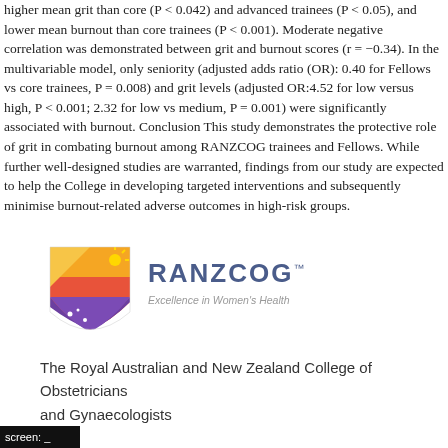higher mean grit than core (P < 0.042) and advanced trainees (P < 0.05), and lower mean burnout than core trainees (P < 0.001). Moderate negative correlation was demonstrated between grit and burnout scores (r = −0.34). In the multivariable model, only seniority (adjusted adds ratio (OR): 0.40 for Fellows vs core trainees, P = 0.008) and grit levels (adjusted OR:4.52 for low versus high, P < 0.001; 2.32 for low vs medium, P = 0.001) were significantly associated with burnout. Conclusion This study demonstrates the protective role of grit in combating burnout among RANZCOG trainees and Fellows. While further well-designed studies are warranted, findings from our study are expected to help the College in developing targeted interventions and subsequently minimise burnout-related adverse outcomes in high-risk groups.
[Figure (logo): RANZCOG logo — a shield shape with orange/red/purple gradient and stars, beside text 'RANZCOG' and tagline 'Excellence in Women's Health']
The Royal Australian and New Zealand College of Obstetricians and Gynaecologists
screen: